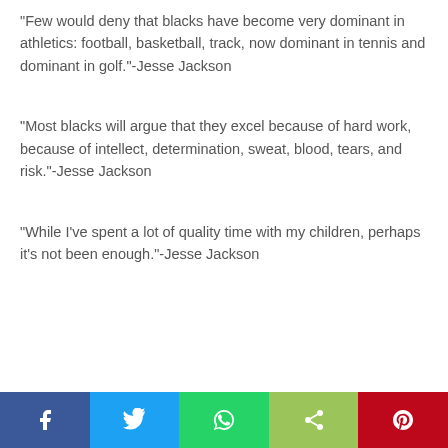“Few would deny that blacks have become very dominant in athletics: football, basketball, track, now dominant in tennis and dominant in golf.”-Jesse Jackson
“Most blacks will argue that they excel because of hard work, because of intellect, determination, sweat, blood, tears, and risk.”-Jesse Jackson
“While I've spent a lot of quality time with my children, perhaps it’s not been enough.”-Jesse Jackson
[Figure (other): Social share bar with Facebook, Twitter, WhatsApp, Share, and Pinterest buttons]